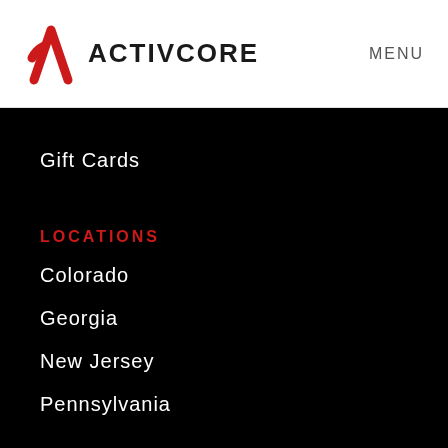[Figure (logo): Activcore logo with red stylized A icon and bold black ACTIVCORE text]
MENU
(partially visible navigation link)
Gift Cards
LOCATIONS
Colorado
Georgia
New Jersey
Pennsylvania
GETTING STARTED
Find A Location
Contact Us